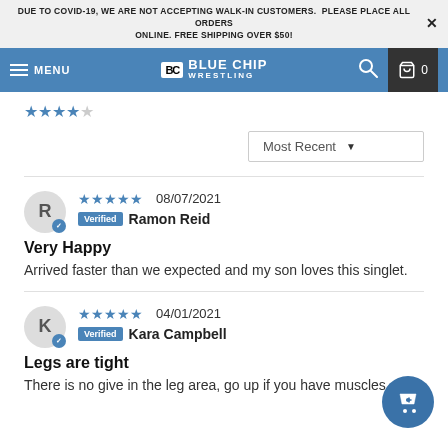DUE TO COVID-19, WE ARE NOT ACCEPTING WALK-IN CUSTOMERS. PLEASE PLACE ALL ORDERS ONLINE. FREE SHIPPING OVER $50!
[Figure (screenshot): Blue Chip Wrestling website navigation bar with hamburger menu, BC logo, search icon, and cart showing 0 items]
Most Recent ▼
★★★★★ 08/07/2021
Verified Ramon Reid
Very Happy
Arrived faster than we expected and my son loves this singlet.
★★★★★ 04/01/2021
Verified Kara Campbell
Legs are tight
There is no give in the leg area, go up if you have muscles